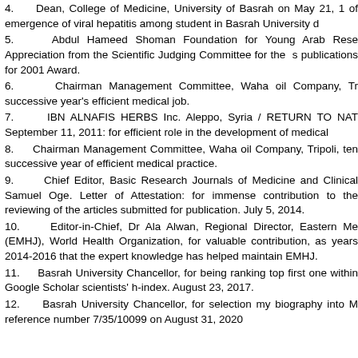4.    Dean, College of Medicine, University of Basrah on May 21, 1... of emergence of viral hepatitis among student in Basrah University d...
5.    Abdul Hameed Shoman Foundation for Young Arab Rese... Appreciation from the Scientific Judging Committee for the s... publications for 2001 Award.
6.    Chairman Management Committee, Waha oil Company, Tr... successive year's efficient medical job.
7.    IBN ALNAFIS HERBS Inc. Aleppo, Syria / RETURN TO NAT... September 11, 2011: for efficient role in the development of medical...
8.    Chairman Management Committee, Waha oil Company, Tripoli,... ten successive year of efficient medical practice.
9.    Chief Editor, Basic Research Journals of Medicine and Clinical... Samuel Oge. Letter of Attestation: for immense contribution to the... reviewing of the articles submitted for publication. July 5, 2014.
10.    Editor-in-Chief, Dr Ala Alwan, Regional Director, Eastern Me... (EMHJ), World Health Organization, for valuable contribution, as... years 2014-2016 that the expert knowledge has helped maintain... EMHJ.
11.    Basrah University Chancellor, for being ranking top first one... within Google Scholar scientists' h-index. August 23, 2017.
12.    Basrah University Chancellor, for selection my biography into M... reference number 7/35/10099 on August 31, 2020